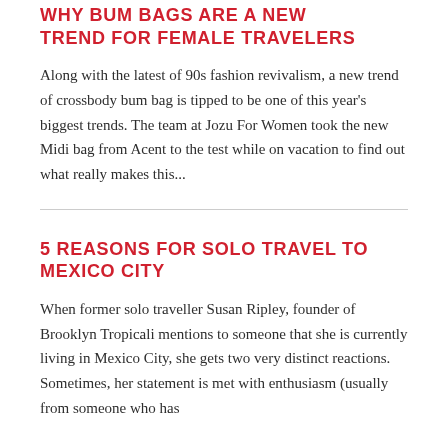WHY BUM BAGS ARE A NEW TREND FOR FEMALE TRAVELERS
Along with the latest of 90s fashion revivalism, a new trend of crossbody bum bag is tipped to be one of this year's biggest trends. The team at Jozu For Women took the new Midi bag from Acent to the test while on vacation to find out what really makes this...
5 REASONS FOR SOLO TRAVEL TO MEXICO CITY
When former solo traveller Susan Ripley, founder of Brooklyn Tropicali mentions to someone that she is currently living in Mexico City, she gets two very distinct reactions. Sometimes, her statement is met with enthusiasm (usually from someone who has